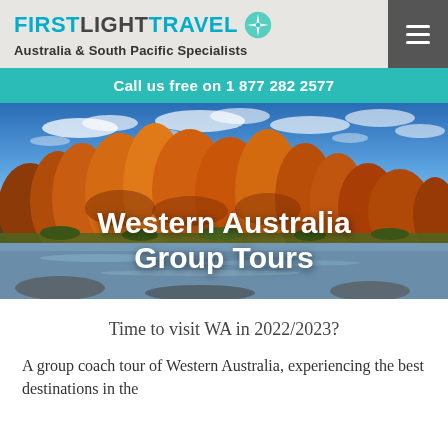FIRSTLIGHTTRAVEL — Australia & South Pacific Specialists
Call us free on 1 877 282 2577
[Figure (photo): Landscape photo of red rocky formations (likely Bungle Bungles / Purnululu, Western Australia) with blue sky and clouds, river in foreground]
Western Australia Group Tours
Time to visit WA in 2022/2023?
A group coach tour of Western Australia, experiencing the best destinations in the